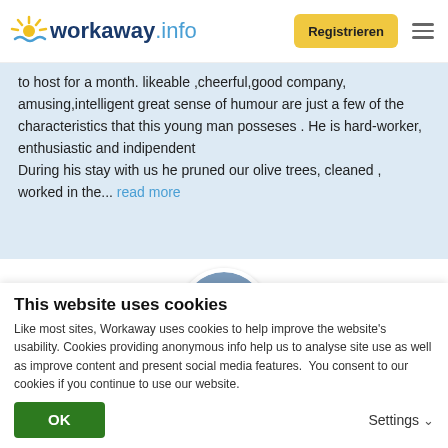workaway.info | Registrieren
to host for a month. likeable ,cheerful,good company, amusing,intelligent great sense of humour are just a few of the characteristics that this young man posseses . He is hard-worker, enthusiastic and indipendent During his stay with us he pruned our olive trees, cleaned , worked in the... read more
[Figure (photo): Circular avatar photo of a person outdoors]
[Figure (other): Five gold star rating icons]
This website uses cookies
Like most sites, Workaway uses cookies to help improve the website's usability. Cookies providing anonymous info help us to analyse site use as well as improve content and present social media features.  You consent to our cookies if you continue to use our website.
OK
Settings